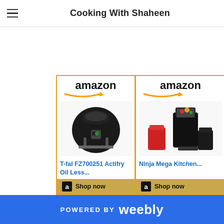Cooking With Shaheen
[Figure (screenshot): Two Amazon affiliate product ad cards showing: 1) T-fal FZ700251 Actifry Oil Less... air fryer with Shop now button, 2) Ninja Mega Kitchen... blender set with Shop now button (partially visible). Both cards have orange borders, Amazon logo with arrow, product image, blue product title text, and gold Shop now bar.]
POWERED BY weebly